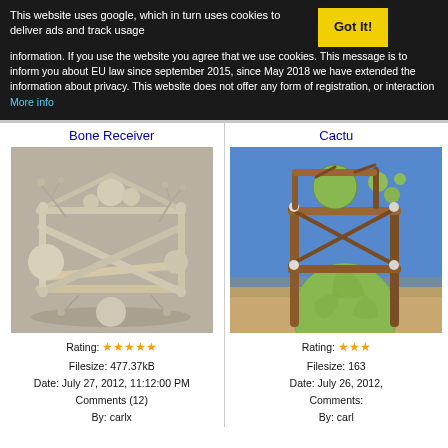This website uses google, which in turn uses cookies to deliver ads and track usage information. If you use the website you agree that we use cookies. This message is to inform you about EU law since september 2015, since May 2018 we have extended the information about privacy. This website does not offer any form of registration, or interaction More info
Bone Receiver
[Figure (photo): 3D rendered image of a complex mechanical/fractal structure made of bone-colored tubular struts and spheres forming a cube-like frame with intricate branching details]
Rating: ★★★★★
Filesize: 477.37kB
Date: July 27, 2012, 11:12:00 PM
Comments (12)
By: carlx
Cactu
[Figure (photo): 3D rendered image of a green cactus-like sphere and structures in a wooden frame, set against a blue desert sky]
Rating: ★★★
Filesize: 163...
Date: July 26, 2012,...
Comments:...
By: carl...